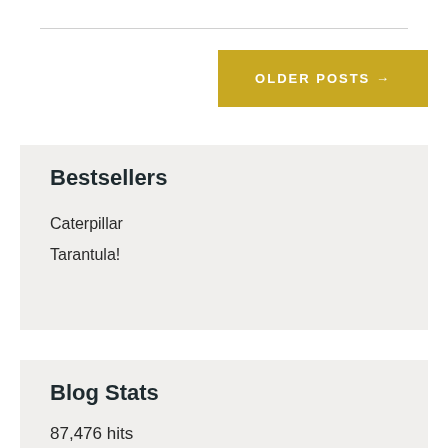OLDER POSTS →
Bestsellers
Caterpillar
Tarantula!
Blog Stats
87,476 hits